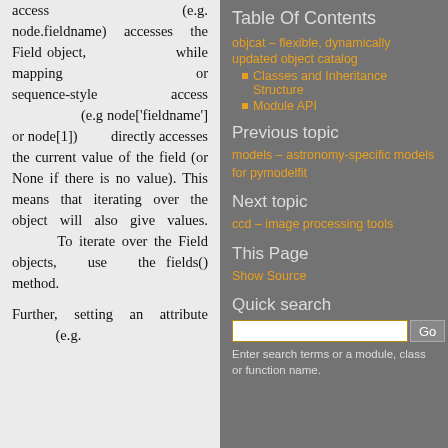access (e.g. node.fieldname) accesses the Field object, while mapping or sequence-style access (e.g node['fieldname'] or node[1]) directly accesses the current value of the field (or None if there is no value). This means that iterating over the object will also give values. To iterate over the Field objects, use the fields() method.
Further, setting an attribute (e.g.
Table Of Contents
objcat – flexible, dynamically updated object catalog
Classes and Inheritance Structure
Module API
Previous topic
models – astronomy-specific models for pymodelfit
Next topic
ccd – image processing tools
This Page
Show Source
Quick search
Enter search terms or a module, class or function name.